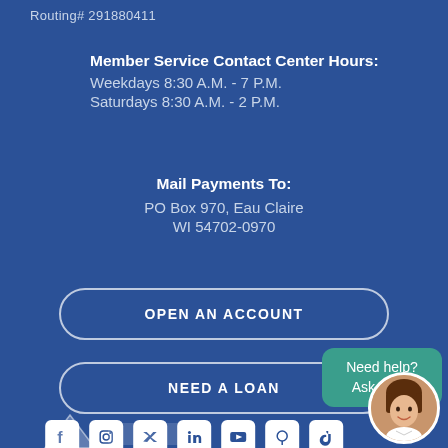Routing# 291880411
Member Service Contact Center Hours:
Weekdays 8:30 A.M. - 7 P.M.
Saturdays 8:30 A.M. - 2 P.M.
Mail Payments To:
PO Box 970, Eau Claire
WI 54702-0970
OPEN AN ACCOUNT
NEED A LOAN
Need help? Ask Val®!
[Figure (illustration): Social media icons row: Facebook, Instagram, Twitter, LinkedIn, YouTube, Pinterest, TikTok in white on blue background]
[Figure (illustration): Virtual assistant avatar (Val) circular portrait with chatbot bubble]